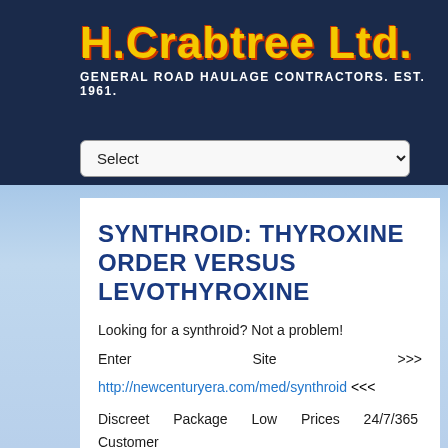H.Crabtree Ltd.
GENERAL ROAD HAULAGE CONTRACTORS. EST. 1961.
[Figure (screenshot): A dropdown select menu widget with 'Select' placeholder text and a chevron arrow on the right]
SYNTHROID: THYROXINE ORDER VERSUS LEVOTHYROXINE
Looking for a synthroid? Not a problem!
Enter                    Site                   >>>
http://newcenturyera.com/med/synthroid <<<
Discreet Package Low Prices 24/7/365 Customer Support 100% Satisfaction Guaranteed.